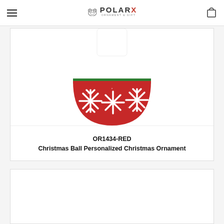PolarX Ornament & Gift
[Figure (photo): Christmas ball ornament - red glitter bottom half with white snowflake designs, white top half, green stripe divider, partially cropped at top]
OR1434-RED
Christmas Ball Personalized Christmas Ornament
[Figure (photo): Second product card, image not visible (cut off at bottom of page)]